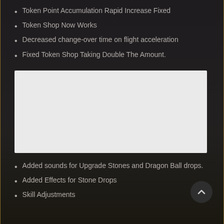Token Point Accumulation Rapid Increase Fixed
Token Shop Now Works
Decreased change-over time on flight acceleration
Fixed Token Shop Taking Double The Amount.
[Figure (other): White/light gray blank image placeholder rectangle]
Added sounds for Upgrade Stones and Dragon Ball drops.
Added Effects for Stone Drops
Skill Adjustments